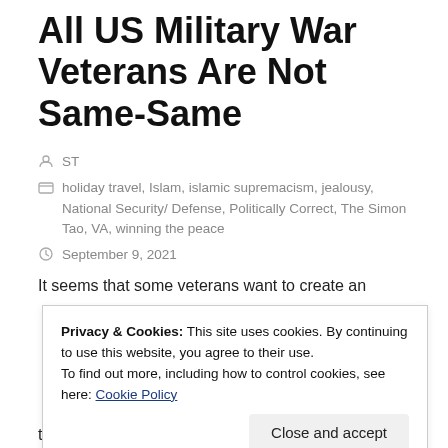All US Military War Veterans Are Not Same-Same
ST
holiday travel, Islam, islamic supremacism, jealousy, National Security/ Defense, Politically Correct, The Simon Tao, VA, winning the peace
September 9, 2021
It seems that some veterans want to create an
Privacy & Cookies: This site uses cookies. By continuing to use this website, you agree to their use. To find out more, including how to control cookies, see here: Cookie Policy
Close and accept
the majority of vets, especially those we can real